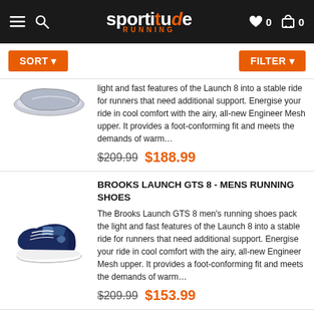sportitude RUNNING — Sort, Filter
light and fast features of the Launch 8 into a stable ride for runners that need additional support. Energise your ride in cool comfort with the airy, all-new Engineer Mesh upper. It provides a foot-conforming fit and meets the demands of warm…
$209.99 $188.99
BROOKS LAUNCH GTS 8 - MENS RUNNING SHOES
The Brooks Launch GTS 8 men's running shoes pack the light and fast features of the Launch 8 into a stable ride for runners that need additional support. Energise your ride in cool comfort with the airy, all-new Engineer Mesh upper. It provides a foot-conforming fit and meets the demands of warm…
$209.99 $153.99